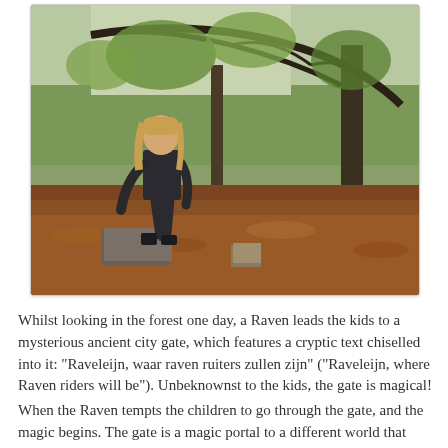[Figure (photo): A child with long hair bending over stone blocks on a forest floor covered with autumn leaves. Trees with sparse green foliage visible in background.]
Whilst looking in the forest one day, a Raven leads the kids to a mysterious ancient city gate, which features a cryptic text chiselled into it: "Raveleijn, waar raven ruiters zullen zijn" ("Raveleijn, where Raven riders will be"). Unbeknownst to the kids, the gate is magical!
When the Raven tempts the children to go through the gate, and the magic begins. The gate is a magic portal to a different world that transforms the kids into mounted riders